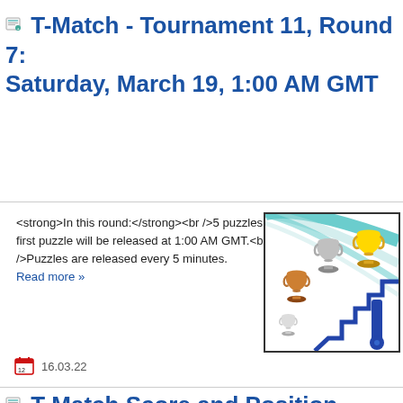T-Match - Tournament 11, Round 7: Saturday, March 19, 1:00 AM GMT
<strong>In this round:</strong><br />5 puzzles. The first puzzle will be released at 1:00 AM GMT.<br />Puzzles are released every 5 minutes.
Read more »
[Figure (illustration): Trophy image showing gold, silver, and bronze trophies against a diagonal striped background with a blue key/lock object]
16.03.22
T-Match Score and Position - Tournament 11, Round 6 of 12
T-Match [6/11] Top Players: 1st place -